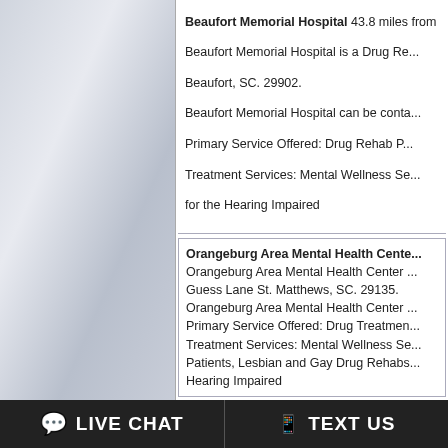Beaufort Memorial Hospital 43.8 miles from ... Beaufort Memorial Hospital is a Drug Re... Beaufort, SC. 29902. Beaufort Memorial Hospital can be conta... Primary Service Offered: Drug Rehab P... Treatment Services: Mental Wellness Se... for the Hearing Impaired
Orangeburg Area Mental Health Cente... Orangeburg Area Mental Health Center ... Guess Lane St. Matthews, SC. 29135. Orangeburg Area Mental Health Center ... Primary Service Offered: Drug Treatmen... Treatment Services: Mental Wellness Se... Patients, Lesbian and Gay Drug Rehabs... Hearing Impaired
Trident Medical Center 44.5 miles from... Trident Medical Center is a Drug Rehab... Drive Charleston, SC. 29406. Trident Medical Center can be contacted... Primary Service Offered: Drug Rehabilita... Treatment Services: Mental Wellness Se... Patients, AIDS/HIV Patients, Lesbian an...
Ernest E Kennedy Center 46.6 miles fr... Ernest E Kennedy Center is a Drug Reh...
LIVE CHAT   TEXT US